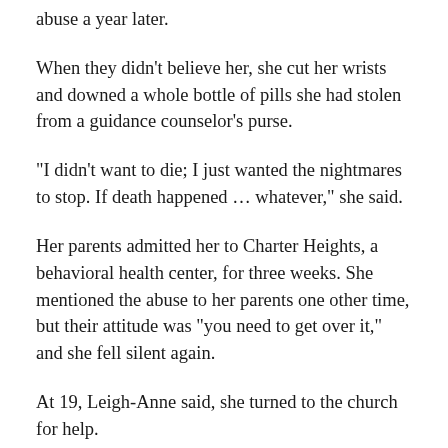abuse a year later.
When they didn't believe her, she cut her wrists and downed a whole bottle of pills she had stolen from a guidance counselor's purse.
“I didn’t want to die; I just wanted the nightmares to stop. If death happened… whatever,” she said.
Her parents admitted her to Charter Heights, a behavioral health center, for three weeks. She mentioned the abuse to her parents one other time, but their attitude was “you need to get over it,” and she fell silent again.
At 19, Leigh-Anne said, she turned to the church for help.
“I figured that if I could just get someone to listen to